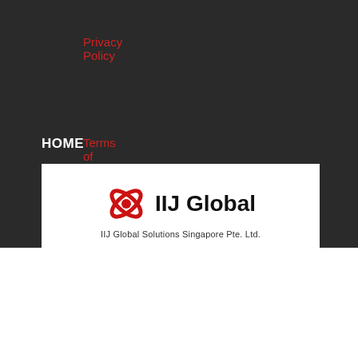Privacy Policy
Terms of Use
HOME
[Figure (logo): IIJ Global logo with red icon and text 'IIJ Global Solutions Singapore Pte. Ltd.']
We use cookies on our website to give you the most relevant experience by remembering your preferences and repeat visits. By clicking “Accept”, you consent to the use of ALL the cookies.
Cookie settings   ACCEPT